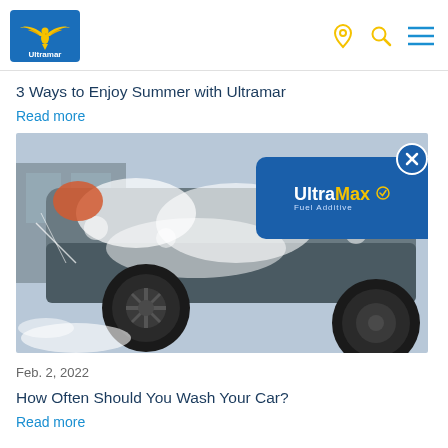Ultramar logo and navigation icons
3 Ways to Enjoy Summer with Ultramar
Read more
[Figure (photo): A car being washed with soap suds and water, showing the side and wheel of a dark-colored vehicle. An UltraMax Fuel Additive badge is shown in the top-right corner.]
Feb. 2, 2022
How Often Should You Wash Your Car?
Read more